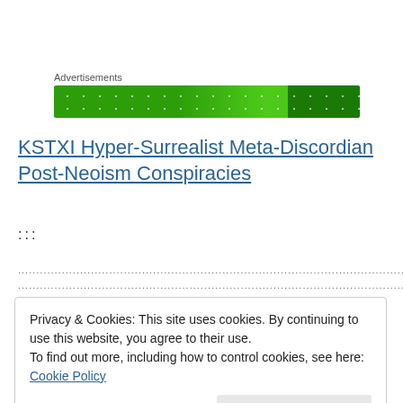Advertisements
[Figure (illustration): Green advertisement banner with light speckle pattern]
KSTXI Hyper-Surrealist Meta-Discordian Post-Neoism Conspiracies
:::
...............................................................................................................
...............................................................................................................
Privacy & Cookies: This site uses cookies. By continuing to use this website, you agree to their use.
To find out more, including how to control cookies, see here: Cookie Policy
Close and accept